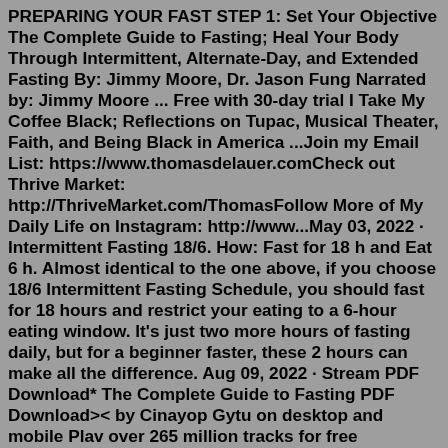PREPARING YOUR FAST STEP 1: Set Your Objective The Complete Guide to Fasting; Heal Your Body Through Intermittent, Alternate-Day, and Extended Fasting By: Jimmy Moore, Dr. Jason Fung Narrated by: Jimmy Moore ... Free with 30-day trial I Take My Coffee Black; Reflections on Tupac, Musical Theater, Faith, and Being Black in America ...Join my Email List: https://www.thomasdelauer.comCheck out Thrive Market: http://ThriveMarket.com/ThomasFollow More of My Daily Life on Instagram: http://www...May 03, 2022 · Intermittent Fasting 18/6. How: Fast for 18 h and Eat 6 h. Almost identical to the one above, if you choose 18/6 Intermittent Fasting Schedule, you should fast for 18 hours and restrict your eating to a 6-hour eating window. It's just two more hours of fasting daily, but for a beginner faster, these 2 hours can make all the difference. Aug 09, 2022 · Stream PDF Download* The Complete Guide to Fasting PDF Download>< by Cinayop Gytu on desktop and mobile Plav over 265 million tracks for free